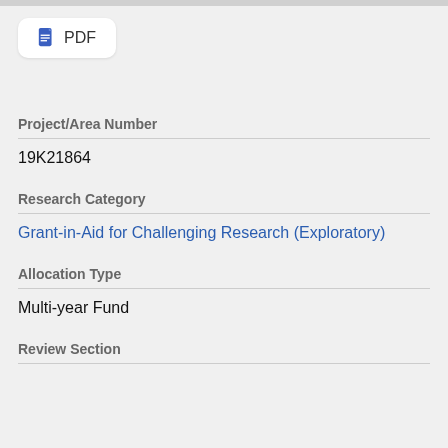[Figure (other): PDF button icon with text 'PDF']
Project/Area Number
19K21864
Research Category
Grant-in-Aid for Challenging Research (Exploratory)
Allocation Type
Multi-year Fund
Review Section